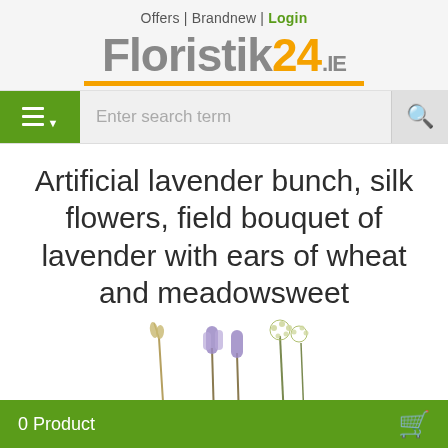Offers | Brandnew | Login
[Figure (logo): Floristik24.ie logo with grey 'Floristik' text, orange '24' and grey '.ie', with orange underline]
[Figure (screenshot): Search bar with green hamburger menu button on left, grey search input field with placeholder 'Enter search term', and search icon on right]
Artificial lavender bunch, silk flowers, field bouquet of lavender with ears of wheat and meadowsweet
[Figure (photo): Botanical illustration of lavender and meadowsweet stems, partially visible at bottom of page]
0 Product